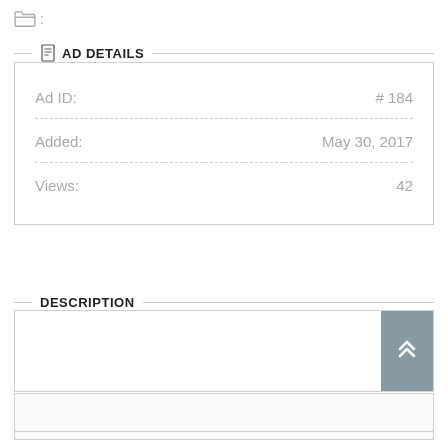[Figure (illustration): Folder icon followed by colon]
AD DETAILS
| Ad ID: | # 184 |
| Added: | May 30, 2017 |
| Views: | 42 |
DESCRIPTION
[Figure (other): Scroll-to-top button with double chevron up arrow icon, gray background]